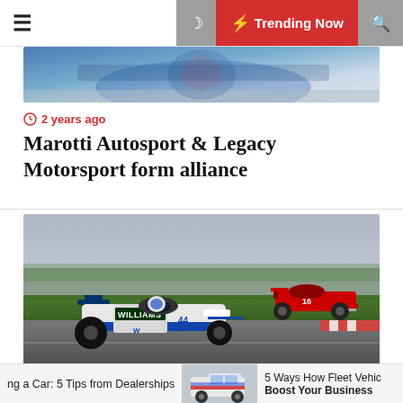≡  🌙  ⚡ Trending Now  🔍
[Figure (photo): Cropped top portion of a motorsport/racing image, partially visible]
⏱ 2 years ago
Marotti Autosport & Legacy Motorsport form alliance
[Figure (photo): Williams F1 car (white/blue livery, number 44) racing on track, with a red Ferrari in the background]
⏱ 2 years ago
Williams hopeful it can fight Ferrari on merit
ng a Car: 5 Tips from Dealerships   5 Ways How Fleet Vehic Boost Your Business